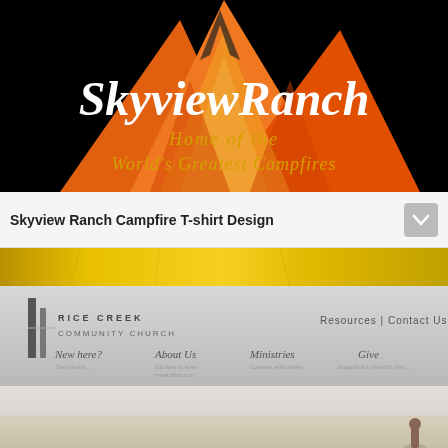[Figure (illustration): Skyview Ranch logo on black background with orange flame/mountain graphic. White script text 'SkyviewRanch' and yellow text 'Home of the World's Greatest Campfires']
Skyview Ranch Campfire T-shirt Design
[Figure (photo): Yellow/gold textured fabric banner]
[Figure (screenshot): Rice Creek Community Church website header with logo, navigation links: New here?, About Us, Ministries, Give, Resources, Contact Us]
[Figure (photo): Bottom portion showing a light-colored outdoor scene with a small person figure on the right side]